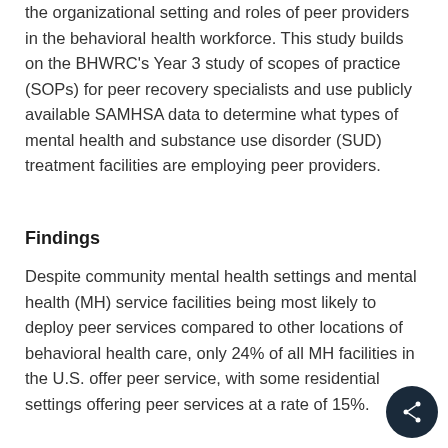the organizational setting and roles of peer providers in the behavioral health workforce. This study builds on the BHWRC's Year 3 study of scopes of practice (SOPs) for peer recovery specialists and use publicly available SAMHSA data to determine what types of mental health and substance use disorder (SUD) treatment facilities are employing peer providers.
Findings
Despite community mental health settings and mental health (MH) service facilities being most likely to deploy peer services compared to other locations of behavioral health care, only 24% of all MH facilities in the U.S. offer peer service, with some residential settings offering peer services at a rate of 15%.